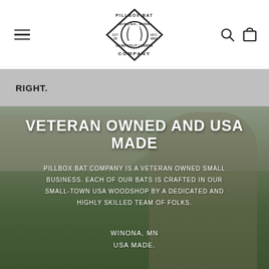Pillbox Bat Company - navigation header with logo, hamburger menu, search and cart icons
RIGHT.
[Figure (photo): Baseball player swinging a bat outdoors on a grass field, wearing gray baseball pants, yellow shirt, and gray sleeves. Photo serves as hero background image.]
VETERAN OWNED AND USA MADE
PILLBOX BAT COMPANY IS A VETERAN OWNED SMALL BUSINESS. EACH OF OUR BATS IS CRAFTED IN OUR SMALL-TOWN USA WOODSHOP BY A DEDICATED AND HIGHLY SKILLED TEAM OF FOLKS.
WINONA, MN
USA MADE.